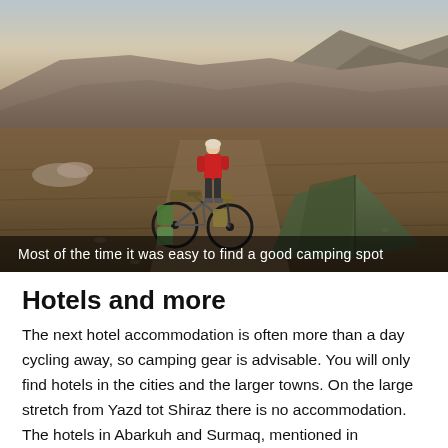[Figure (photo): A cyclist in a red jacket stands next to a heavily loaded bike in a barren desert landscape with mountains in the background. A green camping tent is pitched in the foreground right. The scene is photographed at dusk or dawn.]
Most of the time it was easy to find a good camping spot
Hotels and more
The next hotel accommodation is often more than a day cycling away, so camping gear is advisable. You will only find hotels in the cities and the larger towns. On the large stretch from Yazd tot Shiraz there is no accommodation. The hotels in Abarkuh and Surmaq, mentioned in guidebooks, were both closed for many years when we passed. In